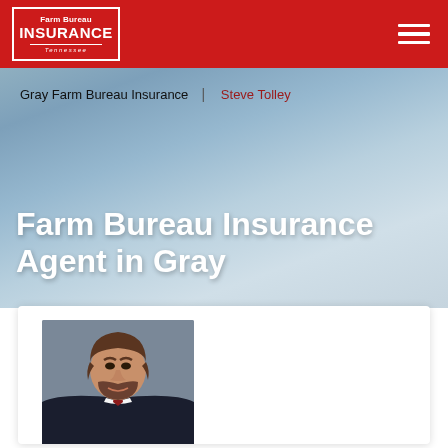[Figure (logo): Farm Bureau Insurance Tennessee logo in white text inside white-bordered box on red background]
Gray Farm Bureau Insurance  |  Steve Tolley
Farm Bureau Insurance Agent in Gray
[Figure (photo): Professional headshot of Steve Tolley, insurance agent, wearing dark suit and red tie, with beard, smiling]